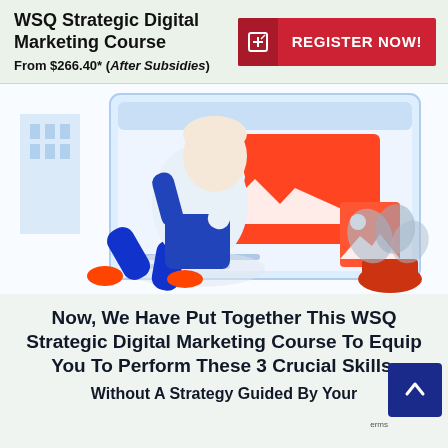WSQ Strategic Digital Marketing Course
From $266.40* (After Subsidies)
REGISTER NOW!
[Figure (illustration): Illustration of a person in blue and orange clothing kneeling in front of a large monitor/screen displaying digital content, with a plant and decorative elements in the background. Light blue and white tones dominate.]
Now, We Have Put Together This WSQ Strategic Digital Marketing Course To Equip You To Perform These 3 Crucial Skills.
Without A Strategy Guided By Your